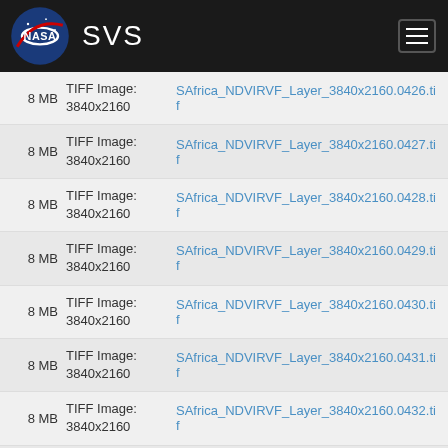NASA SVS
8 MB  TIFF Image: 3840x2160  SAfrica_NDVIRVF_Layer_3840x2160.0426.tif
8 MB  TIFF Image: 3840x2160  SAfrica_NDVIRVF_Layer_3840x2160.0427.tif
8 MB  TIFF Image: 3840x2160  SAfrica_NDVIRVF_Layer_3840x2160.0428.tif
8 MB  TIFF Image: 3840x2160  SAfrica_NDVIRVF_Layer_3840x2160.0429.tif
8 MB  TIFF Image: 3840x2160  SAfrica_NDVIRVF_Layer_3840x2160.0430.tif
8 MB  TIFF Image: 3840x2160  SAfrica_NDVIRVF_Layer_3840x2160.0431.tif
8 MB  TIFF Image: 3840x2160  SAfrica_NDVIRVF_Layer_3840x2160.0432.tif
8 MB  TIFF Image: 3840x2160  SAfrica_NDVIRVF_Layer_3840x2160.0433.tif
8 MB  TIFF Image: 3840x2160  SAfrica_NDVIRVF_Layer_3840x2160.0434.tif
8 MB  TIFF Image:  SAfrica_NDVIRVF_Layer_3840x2160.0435.tif